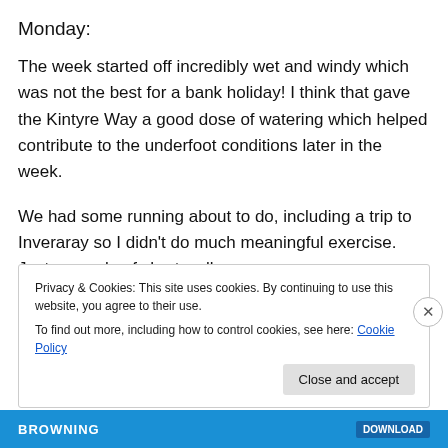Monday:
The week started off incredibly wet and windy which was not the best for a bank holiday! I think that gave the Kintyre Way a good dose of watering which helped contribute to the underfoot conditions later in the week.
We had some running about to do, including a trip to Inveraray so I didn't do much meaningful exercise. Just a couple of short walks.
Privacy & Cookies: This site uses cookies. By continuing to use this website, you agree to their use.
To find out more, including how to control cookies, see here: Cookie Policy
Close and accept